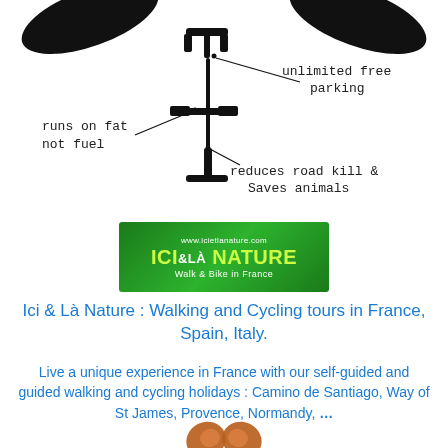[Figure (illustration): Hand-drawn style illustration of a bicycle viewed from above with annotations: 'runs on fat not fuel' on the left, 'unlimited free parking' on the upper right, 'reduces road kill & Saves animals' on the lower center. Butterfly wing shapes flank the bicycle top.]
[Figure (logo): ICI & LÀ NATURE logo on green background with text 'www.icietlanature.com' at top and 'Walk & Bike in France' at bottom]
Ici & Là Nature : Walking and Cycling tours in France, Spain, Italy.
Live a unique experience in France with our self-guided and guided walking and cycling holidays : Camino de Santiago, Way of St James, Provence, Normandy, ...
[Figure (illustration): Partial butterfly wings visible at the bottom of the page, brown/orange colored]